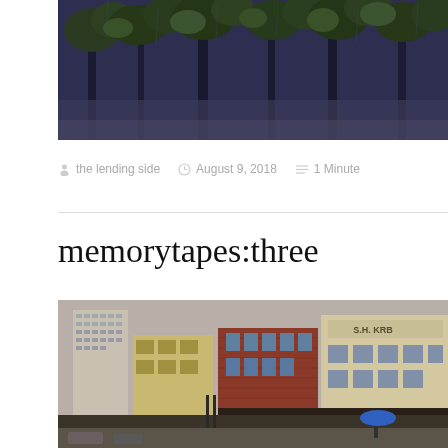[Figure (photo): Top photograph showing trees and foliage with dark purple/blue tones, appears to be a rainy outdoor scene]
the lending side  August 9, 2018  1 Minute
memorytapes:three
[Figure (photo): Street scene photograph showing brick buildings including one with 'S.H. KRB' signage, a tall modern office building in background, street with traffic lights and a person with blue umbrella]